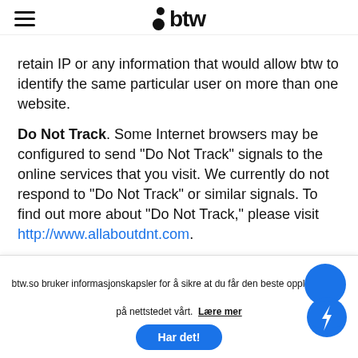btw (logo with hamburger menu)
retain IP or any information that would allow btw to identify the same particular user on more than one website.
Do Not Track. Some Internet browsers may be configured to send "Do Not Track" signals to the online services that you visit. We currently do not respond to "Do Not Track" or similar signals. To find out more about "Do Not Track," please visit http://www.allaboutdnt.com.
btw.so bruker informasjonskapsler for å sikre at du får den beste oppl... på nettstedet vårt. Lære mer  Har det!